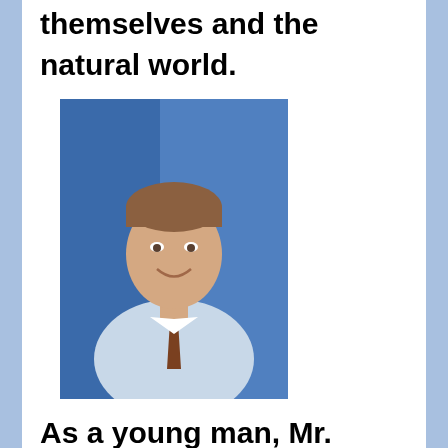themselves and the natural world.
[Figure (photo): Headshot photo of Mr. Roome, a middle-aged man in a light blue shirt and tie, smiling, against a blue background.]
As a young man, Mr. Roome sailed over 13,000 nautical miles in a 26 foot sailboat from England to Vancouver Island. Through this experience he developed a